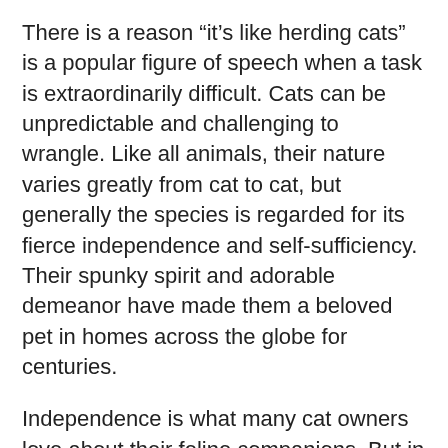There is a reason “it’s like herding cats” is a popular figure of speech when a task is extraordinarily difficult. Cats can be unpredictable and challenging to wrangle. Like all animals, their nature varies greatly from cat to cat, but generally the species is regarded for its fierce independence and self-sufficiency. Their spunky spirit and adorable demeanor have made them a beloved pet in homes across the globe for centuries.
Independence is what many cat owners love about their feline companions. But in the same vein, it can present challenges when monitoring your animals’ overall health. Cat owners can easily miss subtle signs of distress, which can